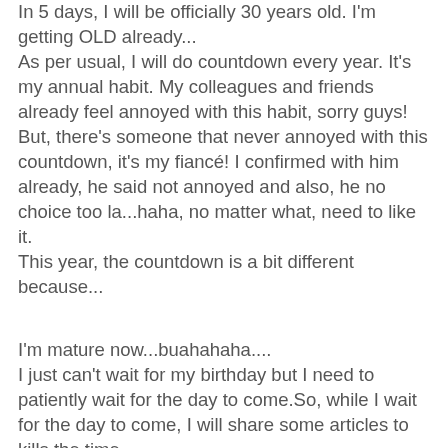In 5 days, I will be officially 30 years old. I'm getting OLD already... As per usual, I will do countdown every year. It's my annual habit. My colleagues and friends already feel annoyed with this habit, sorry guys! But, there's someone that never annoyed with this countdown, it's my fiancé! I confirmed with him already, he said not annoyed and also, he no choice too la...haha, no matter what, need to like it. This year, the countdown is a bit different because...
I'm mature now...buahahaha.... I just can't wait for my birthday but I need to patiently wait for the day to come.So, while I wait for the day to come, I will share some articles to kills the time. For the first articles, I will share Q&A, potential questions to be exact...haha. So, here you go!
Why do I like my birthday so much?
I feel thankful and grateful for exist in this world. This special day is the day I celebrated myself and feel good about it. Also, to celebrate my mum for safely delivered me 30 years